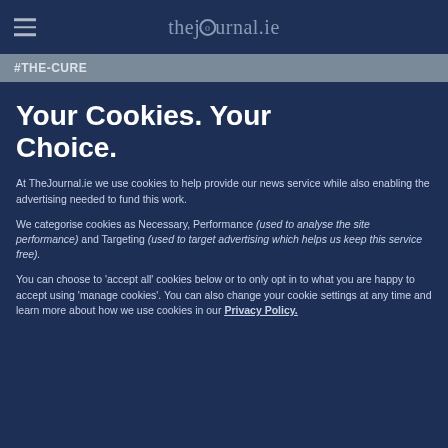thejournal.ie
#THE-CURE
Your Cookies. Your Choice.
At TheJournal.ie we use cookies to help provide our news service while also enabling the advertising needed to fund this work.
We categorise cookies as Necessary, Performance (used to analyse the site performance) and Targeting (used to target advertising which helps us keep this service free).
You can choose to 'accept all' cookies below or to only opt in to what you are happy to accept using 'manage cookies'. You can also change your cookie settings at any time and learn more about how we use cookies in our Privacy Policy.